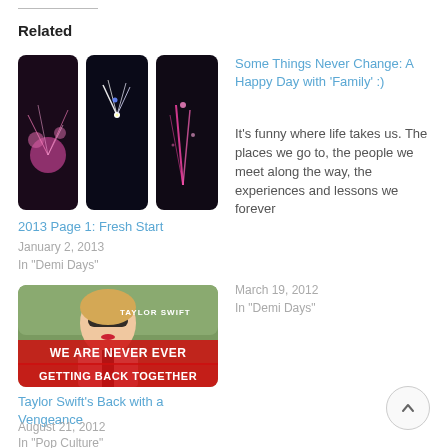Related
[Figure (photo): Three dark photos of fireworks at night against a black sky, pink/white sparks visible]
2013 Page 1: Fresh Start
January 2, 2013
In "Demi Days"
Some Things Never Change: A Happy Day with ‘Family’ :)
It’s funny where life takes us. The places we go to, the people we meet along the way, the experiences and lessons we forever
March 19, 2012
In "Demi Days"
[Figure (photo): Taylor Swift single cover for 'We Are Never Ever Getting Back Together' showing Taylor Swift wearing sunglasses, with bold red and white text]
Taylor Swift’s Back with a Vengeance
August 21, 2012
In "Pop Culture"